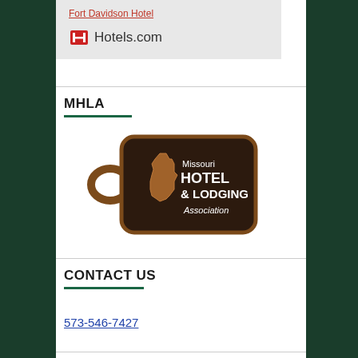[Figure (logo): Fort Davidson Hotel link and Hotels.com logo on grey background]
MHLA
[Figure (logo): Missouri Hotel & Lodging Association logo — a hotel key tag shape with dark background, Missouri state outline, and text 'Missouri HOTEL & LODGING Association']
CONTACT US
573-546-7427